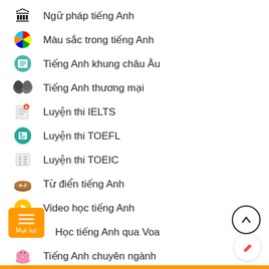Ngữ pháp tiếng Anh
Màu sắc trong tiếng Anh
Tiếng Anh khung châu Âu
Tiếng Anh thương mại
Luyện thi IELTS
Luyện thi TOEFL
Luyện thi TOEIC
Từ điển tiếng Anh
Video học tiếng Anh
Học tiếng Anh qua Voa
Tiếng Anh chuyên ngành
Từ vựng tiếng Anh